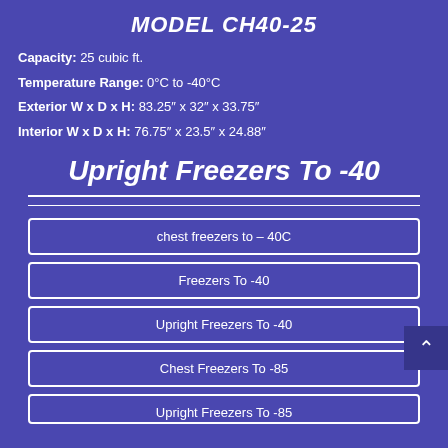MODEL CH40-25
Capacity: 25 cubic ft.
Temperature Range: 0°C to -40°C
Exterior W x D x H: 83.25" x 32" x 33.75"
Interior W x D x H: 76.75" x 23.5" x 24.88"
Upright Freezers To -40
chest freezers to – 40C
Freezers To -40
Upright Freezers To -40
Chest Freezers To -85
Upright Freezers To -85